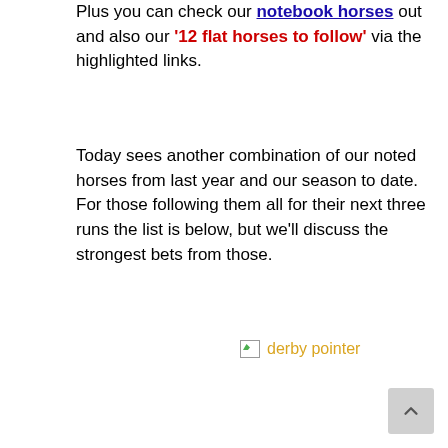Plus you can check our notebook horses out and also our '12 flat horses to follow' via the highlighted links.
Today sees another combination of our noted horses from last year and our season to date. For those following them all for their next three runs the list is below, but we'll discuss the strongest bets from those.
[Figure (other): Broken image placeholder labeled 'derby pointer' shown in golden/yellow text with a small broken image icon]